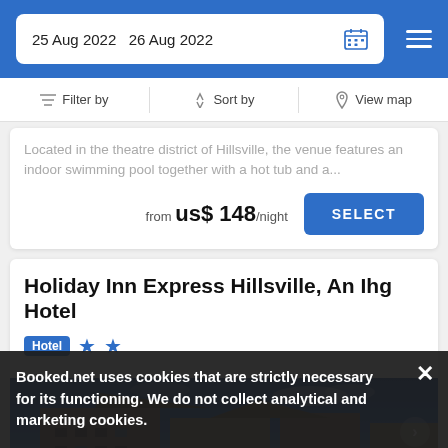25 Aug 2022   26 Aug 2022
Filter by  Sort by  View map
Located in the theatre district of Hillsville, the venue features an indoor swimming pool together with a hot tub and a...
from us$ 148/night
Holiday Inn Express Hillsville, An Ihg Hotel
Hotel  ★★
[Figure (photo): Exterior photo of Holiday Inn Express Hillsville hotel building with blue sky]
Booked.net uses cookies that are strictly necessary for its functioning. We do not collect analytical and marketing cookies.